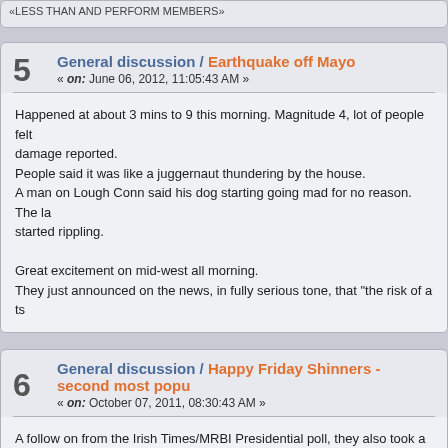«LESS THAN AND PERFORM MEMBERS»
5   General discussion / Earthquake off Mayo   « on: June 06, 2012, 11:05:43 AM »
Happened at about 3 mins to 9 this morning. Magnitude 4, lot of people felt damage reported.
People said it was like a juggernaut thundering by the house.
A man on Lough Conn said his dog starting going mad for no reason. The lake started rippling.

Great excitement on mid-west all morning.
They just announced on the news, in fully serious tone, that "the risk of a ts
6   General discussion / Happy Friday Shinners - second most popu   « on: October 07, 2011, 08:30:43 AM »
A follow on from the Irish Times/MRBI Presidential poll, they also took a pol
In fairness, some of the posters here have been saying this was the main a

Still not bad news for FG and Enda Kenny - they hold a commanding lead a